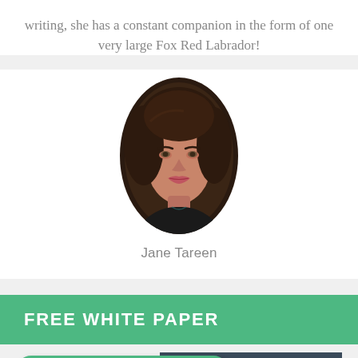writing, she has a constant companion in the form of one very large Fox Red Labrador!
[Figure (photo): Oval portrait photo of Jane Tareen, a woman with dark curly hair]
Jane Tareen
FREE WHITE PAPER
[Figure (screenshot): Green button reading 'Speak to a software advisor' with phone icon, and a dark blue image panel labeled 'CRM SOFTWARE']